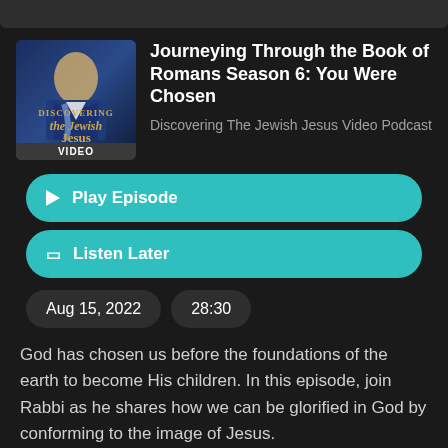[Figure (illustration): Podcast thumbnail image showing a man in a blue blazer with the text 'Discovering the Jewish Jesus VIDEO' overlaid]
Journeying Through the Book of Romans Season 6: You Were Chosen
Discovering The Jewish Jesus Video Podcast
Play Episode
Listen Later
Aug 15, 2022
28:30
God has chosen us before the foundations of the earth to become His children. In this episode, join Rabbi as he shares how we can be glorified in God by conforming to the image of Jesus.